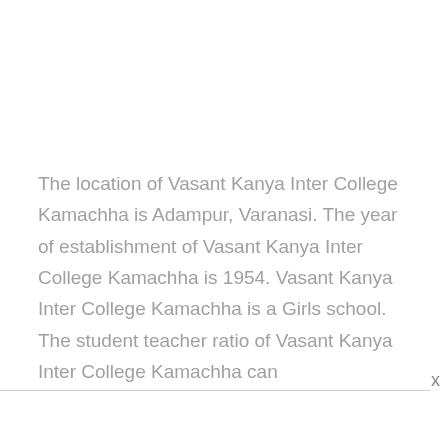The location of Vasant Kanya Inter College Kamachha is Adampur, Varanasi. The year of establishment of Vasant Kanya Inter College Kamachha is 1954. Vasant Kanya Inter College Kamachha is a Girls school. The student teacher ratio of Vasant Kanya Inter College Kamachha can